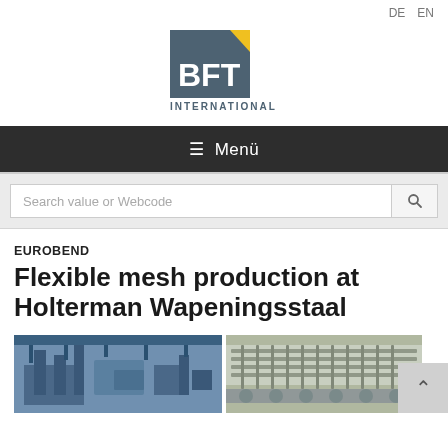DE  EN
[Figure (logo): BFT International logo — grey square with yellow triangle top-right, white text 'BFT' bold, 'INTERNATIONAL' below in small caps]
≡ Menü
Search value or Webcode
EUROBEND
Flexible mesh production at Holterman Wapeningsstaal
[Figure (photo): Two industrial photos side by side: left shows blue industrial mesh welding machine in a factory; right shows metal mesh/rebar grid on rollers]